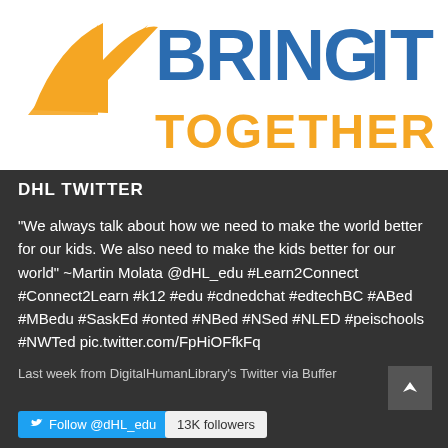[Figure (logo): Bring IT Together conference logo — orange bird/arrow icon on left, blue text 'BRING' and 'IT' on right, orange text 'TOGETHER' below]
DHL TWITTER
"We always talk about how we need to make the world better for our kids. We also need to make the kids better for our world" ~Martin Molata @dHL_edu #Learn2Connect #Connect2Learn #k12 #edu #cdnedchat #edtechBC #ABed #MBedu #SaskEd #onted #NBed #NSed #NLED #peischools #NWTed pic.twitter.com/FpHiOFfkFq
Last week from DigitalHumanLibrary's Twitter via Buffer